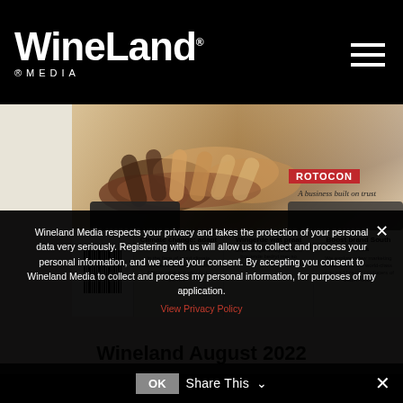WineLand® MEDIA
[Figure (photo): Wineland August 2022 magazine cover showing clasped hands from people of diverse backgrounds, with ROTOCON red badge and tagline 'A business built on trust', and bottom strip with three article previews: 'Climate change: adapt to survive', 'Wingerde wat praat', 'Boost brand South Africa', plus a barcode on the left.]
Wineland August 2022
Wineland Media respects your privacy and takes the protection of your personal data very seriously. Registering with us will allow us to collect and process your personal information, and we need your consent. By accepting you consent to Wineland Media to collect and process my personal information, for purposes of my application.
View Privacy Policy
Share This ∨